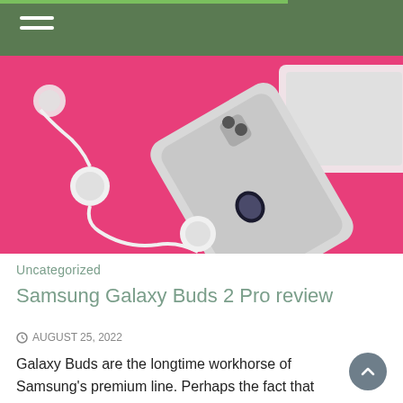[Figure (photo): White iPhone with Apple logo on back and white earbuds on a pink/magenta background, with a white laptop partially visible]
Uncategorized
Samsung Galaxy Buds 2 Pro review
AUGUST 25, 2022
Galaxy Buds are the longtime workhorse of Samsung's premium line. Perhaps the fact that they're nearly always launched as a kind of afterthought to flashier phablets and foldables. Maybe it's the fact that they've always kind of been